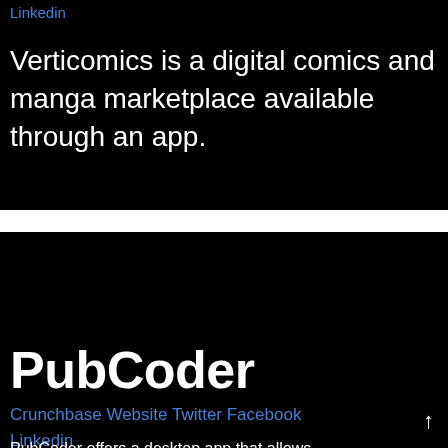Linkedin
Verticomics is a digital comics and manga marketplace available through an app.
PubCoder
Crunchbase Website Twitter Facebook Linkedin
PubCoder offers a desktop app that allows…